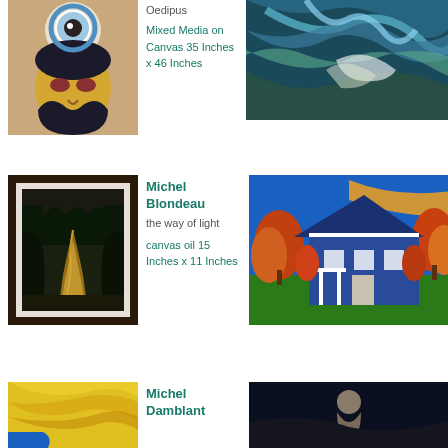[Figure (illustration): Abstract cubist-style painting showing a face with a large eye, blue circle around it, yellow face with dark features on a tan background]
Oedipus

Mixed Media on Canvas
35 Inches x 46 Inches
[Figure (illustration): Abstract blue-green painting with dynamic brushstrokes suggesting landscape or water]
Michel Blondeau
the way of light

canvas oil
15 Inches x 11 Inches
[Figure (illustration): Framed painting of a winding road through trees in warm/dark tones]
[Figure (illustration): Colorful painting of a blue house with autumn trees and orange sky]
Michel Damblant
[Figure (illustration): Painting with yellow swirling colors and blue element at bottom]
[Figure (illustration): Dark painting with a figure partially visible]